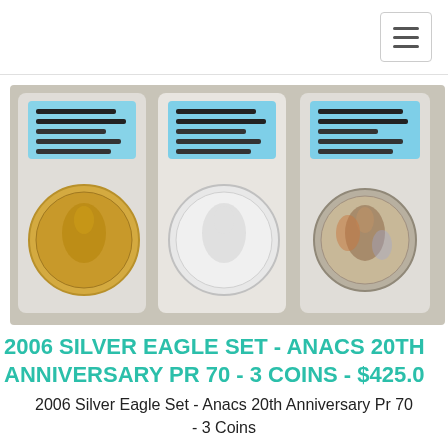[Figure (photo): Three ANACS-graded silver eagle coins in plastic slabs displayed side by side: a gold/burnished coin on the left, a white/standard silver coin in the middle, and a proof coin on the right, all with blue label holders.]
2006 SILVER EAGLE SET - ANACS 20TH ANNIVERSARY PR 70 - 3 COINS - $425.0
2006 Silver Eagle Set - Anacs 20th Anniversary Pr 70 - 3 Coins